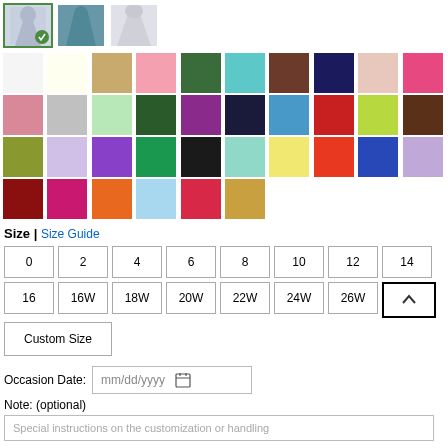[Figure (photo): Three product thumbnail images of dresses; first is selected with green checkmark]
[Figure (photo): Grid of fabric color swatches showing available colors for dress]
Size | Size Guide
Size buttons: 0, 2, 4, 6, 8, 10, 12, 14, 16, 16W, 18W, 20W, 22W, 24W, 26W, Custom Size
Occasion Date: mm/dd/yyyy
Note: (optional)
Special instructions on the customization or handling